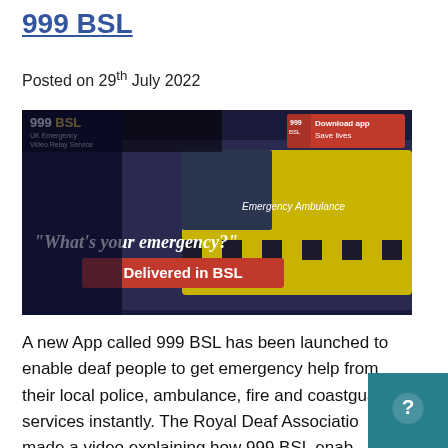999 BSL
Posted on 29th July 2022
[Figure (screenshot): 999 BSL app promotional image showing an ambulance with the text 'What's your emergency?' and 'Delivered in BSL'. Top left shows '999 BSL UK Emergency Video Relay Service' logo and top right shows a download app button.]
A new App called 999 BSL has been launched to enable deaf people to get emergency help from their local police, ambulance, fire and coastguard services instantly. The Royal Deaf Association made a video explaining how 999 BSL enables